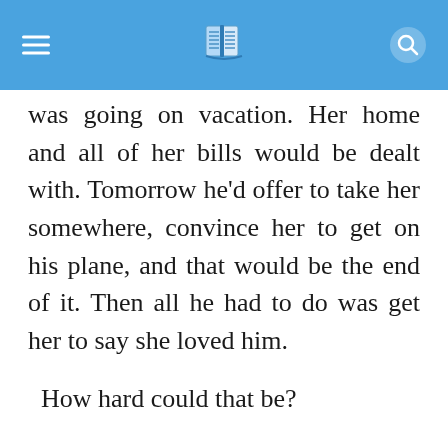≡  [book icon]  [search icon]
was going on vacation. Her home and all of her bills would be dealt with. Tomorrow he'd offer to take her somewhere, convince her to get on his plane, and that would be the end of it. Then all he had to do was get her to say she loved him.

How hard could that be?

Once she settled in she would love his country. He kissed her forehead in response to a warm feeling that spread through him as he imagined her there. She was a woman who as a child had desperately wanted a place to belong. If he was